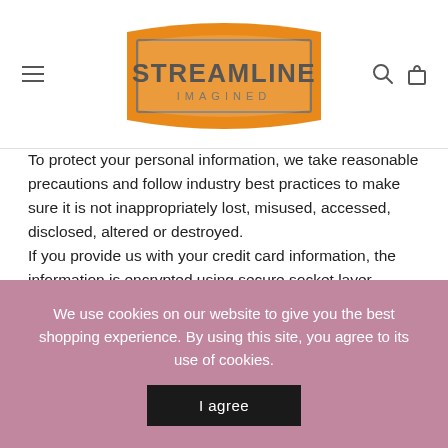[Figure (logo): Streamline Imagined logo with orange banner shape and gray text]
To protect your personal information, we take reasonable precautions and follow industry best practices to make sure it is not inappropriately lost, misused, accessed, disclosed, altered or destroyed. If you provide us with your credit card information, the information is encrypted using secure socket layer technology (SSL) and stored with a AES-256 encryption. Although no method of transmission over the Internet or electronic storage is 100% secure, we follow all PCI-DSS requirements and implement additional generally accepted industry standards.
We use cookies on our website to give you the best shopping experience. By using this site, you agree to its use of cookies.